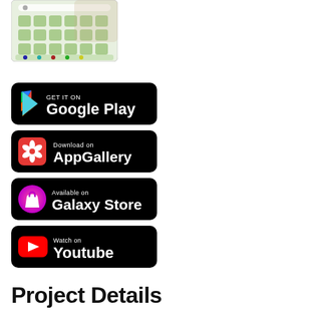[Figure (screenshot): Partial smartphone screen showing app grid with green tiles and various app icons]
[Figure (logo): GET IT ON Google Play badge — black rounded rectangle with Google Play triangle logo and text]
[Figure (logo): Download on AppGallery badge — black rounded rectangle with Huawei flower logo and text]
[Figure (logo): Available on Galaxy Store badge — black rounded rectangle with Samsung Galaxy Store bag icon and text]
[Figure (logo): Watch on Youtube badge — black rounded rectangle with YouTube red play button icon and text]
Project Details